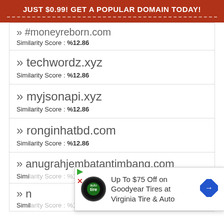JUST $0.99! GET A POPULAR DOMAIN TODAY!
» #moneyreborn (truncated)
Similarity Score : %12.86
» techwordz.xyz
Similarity Score : %12.86
» myjsonapi.xyz
Similarity Score : %12.86
» ronginhatbd.com
Similarity Score : %12.86
» anugrahjembatantimbang.com
Similarity Score : (obscured)
» n… (obscured)
Similarity Score : (obscured)
[Figure (infographic): Ad overlay: Up To $75 Off on Goodyear Tires at Virginia Tire & Auto, with Firestone/auto logo and blue diamond navigation icon. Close (X) button top right.]